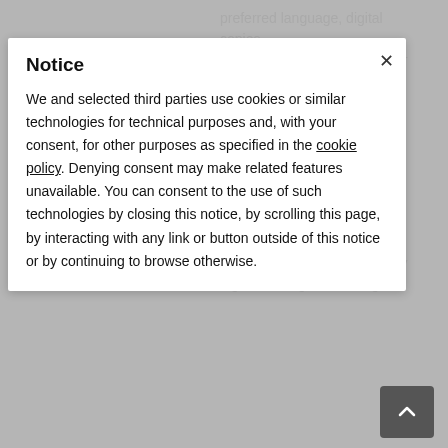Notice
We and selected third parties use cookies or similar technologies for technical purposes and, with your consent, for other purposes as specified in the cookie policy. Denying consent may make related features unavailable. You can consent to the use of such technologies by closing this notice, by scrolling this page, by interacting with any link or button outside of this notice or by continuing to browse otherwise.
Specialised workshops and lectures on Marine Life and conservation
SSI professional merchandise goodies
After becoming certified as an SSI Divemaster you will be authorised to:
Guide certified divers on recreational scuba dives
Conduct the Try Snorkel and Snorkeling Programme
Teach snorkeling courses